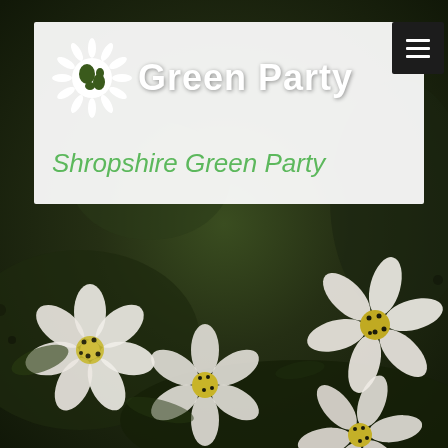[Figure (photo): Close-up photograph of white blossoms (flowers with white petals and yellow-green centers) against a dark green background, serving as the page background image for the Shropshire Green Party website header.]
Green Party
Shropshire Green Party